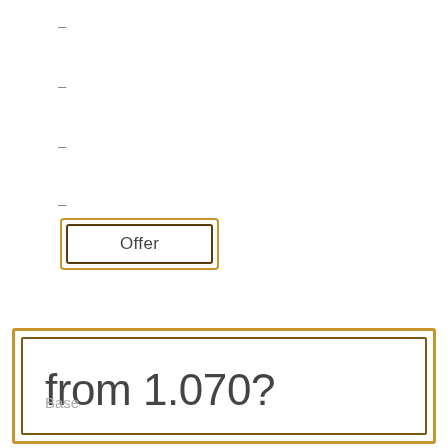–
–
–
–
Offer
from 1.070?
Base